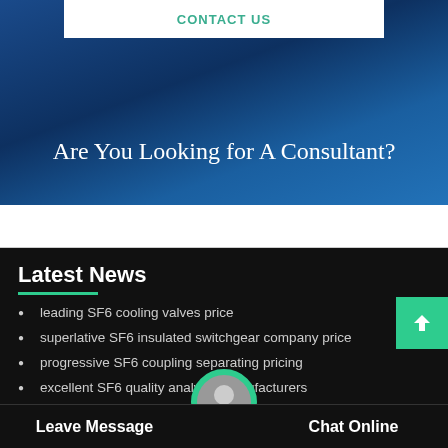CONTACT US
Are You Looking for A Consultant?
Latest News
leading SF6 cooling valves price
superlative SF6 insulated switchgear company price
progressive SF6 coupling separating pricing
excellent SF6 quality analysis manufacturers
distinguished SF6 leak cart pr...
Leave Message
Chat Online